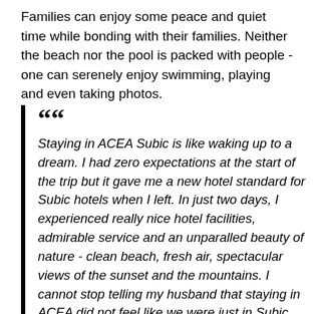Families can enjoy some peace and quiet time while bonding with their families. Neither the beach nor the pool is packed with people - one can serenely enjoy swimming, playing and even taking photos.
Staying in ACEA Subic is like waking up to a dream. I had zero expectations at the start of the trip but it gave me a new hotel standard for Subic hotels when I left. In just two days, I experienced really nice hotel facilities, admirable service and an unparalled beauty of nature - clean beach, fresh air, spectacular views of the sunset and the mountains. I cannot stop telling my husband that staying in ACEA did not feel like we were just in Subic. Since I cannot fly often yet with two small kids in tow, ACEA Subic would definitely be my go-to destination when I simply need a